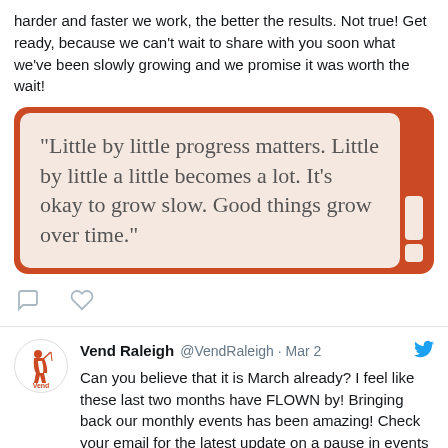harder and faster we work, the better the results. Not true! Get ready, because we can't wait to share with you soon what we've been slowly growing and we promise it was worth the wait!
[Figure (illustration): Quote card with orange border and cream background displaying the text: "Little by little progress matters. Little by little a little becomes a lot. It's okay to grow slow. Good things grow over time."]
[Figure (infographic): Tweet action icons: speech bubble (comment) and heart (like)]
Vend Raleigh @VendRaleigh · Mar 2 — Can you believe that it is March already? I feel like these last two months have FLOWN by! Bringing back our monthly events has been amazing! Check your email for the latest update on a pause in events for March